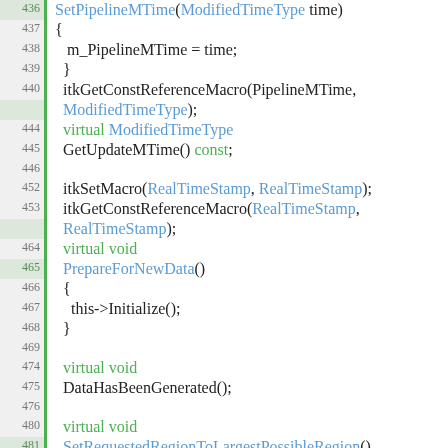[Figure (screenshot): Source code listing in a code editor showing C++ class method definitions with line numbers 436-513. Lines are syntax-highlighted with green for keywords (virtual, const, return, bool, void), blue for type names, and dark/white for regular code. A green vertical bar marks highlighted lines on the left.]